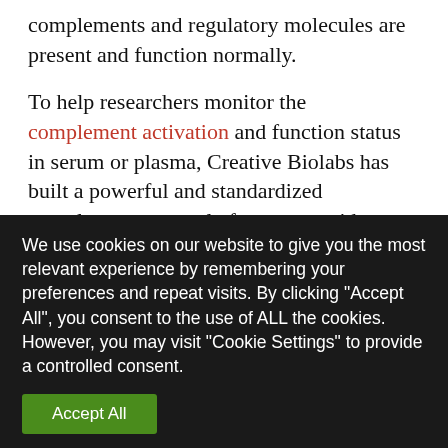complements and regulatory molecules are present and function normally.
To help researchers monitor the complement activation and function status in serum or plasma, Creative Biolabs has built a powerful and standardized complement assay platform to provide complement test services, including tests for:
Assays for the total complement activity, such as
We use cookies on our website to give you the most relevant experience by remembering your preferences and repeat visits. By clicking "Accept All", you consent to the use of ALL the cookies. However, you may visit "Cookie Settings" to provide a controlled consent.